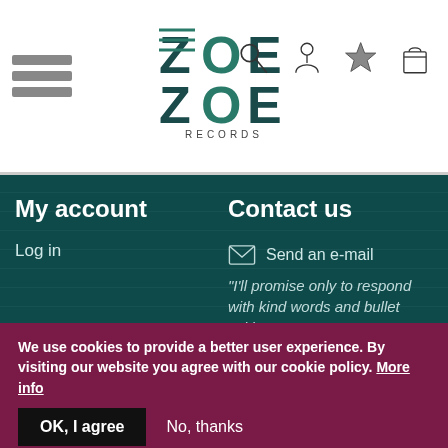[Figure (logo): ZoeZoe Records logo with stylized block letters and hamburger menu icon on the left, and navigation icons (search, user, star, bag) on the right]
My account
Log in
Contact us
Send an e-mail
"I'll promise only to respond with kind words and bullet writing"
ZoeZoe's location
"Get in touch with the anthropoid ZoeZoe"
We use cookies to provide a better user experience. By visiting our website you agree with our cookie policy. More info
OK, I agree   No, thanks